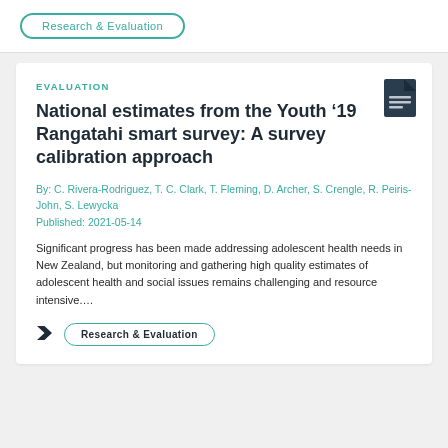EVALUATION
National estimates from the Youth '19 Rangatahi smart survey: A survey calibration approach
By: C. Rivera-Rodriguez, T. C. Clark, T. Fleming, D. Archer, S. Crengle, R. Peiris-John, S. Lewycka
Published: 2021-05-14
Significant progress has been made addressing adolescent health needs in New Zealand, but monitoring and gathering high quality estimates of adolescent health and social issues remains challenging and resource intensive....
Research & Evaluation